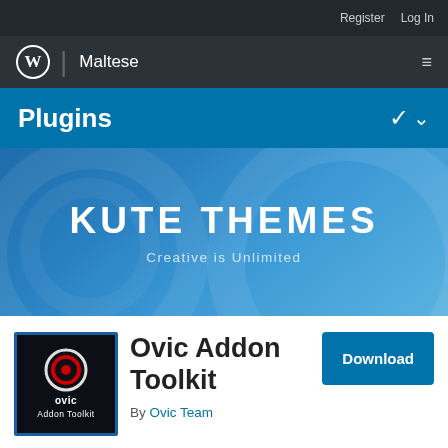Register   Log In
WordPress | Maltese
Plugins
[Figure (logo): Kute Themes banner with text 'KUTE THEMES' and subtitle 'Creative is Unlimited' on a blue gradient background]
[Figure (logo): Ovic Addon Toolkit plugin icon: dark background with red target/circle icon, text 'ovic Addon Toolkit']
Ovic Addon Toolkit
By Ovic Team